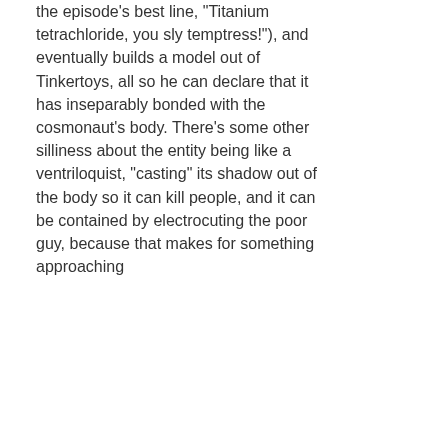the episode's best line, "Titanium tetrachloride, you sly temptress!"), and eventually builds a model out of Tinkertoys, all so he can declare that it has inseparably bonded with the cosmonaut's body. There's some other silliness about the entity being like a ventriloquist, "casting" its shadow out of the body so it can kill people, and it can be contained by electrocuting the poor guy, because that makes for something approaching